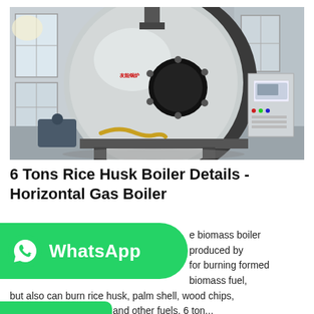[Figure (photo): Industrial horizontal boiler (rice husk biomass boiler) photographed inside a factory/warehouse. The large cylindrical silver and black boiler dominates the center. Chinese text branding visible on boiler body. A yellow flexible hose connects at the base. A grey electrical control cabinet is on the right. Factory windows are visible in the background.]
6 Tons Rice Husk Boiler Details - Horizontal Gas Boiler
e biomass boiler produced by for burning formed biomass fuel, but also can burn rice husk, palm shell, wood chips, coconut husk, firewood and other fuels. 6 ton...